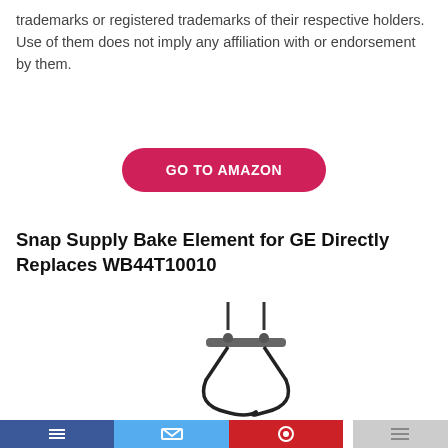trademarks or registered trademarks of their respective holders. Use of them does not imply any affiliation with or endorsement by them.
GO TO AMAZON
Snap Supply Bake Element for GE Directly Replaces WB44T10010
[Figure (photo): Product photo of a bake element (oven heating element) with a -28% discount badge in green circle in the top-left area of the image]